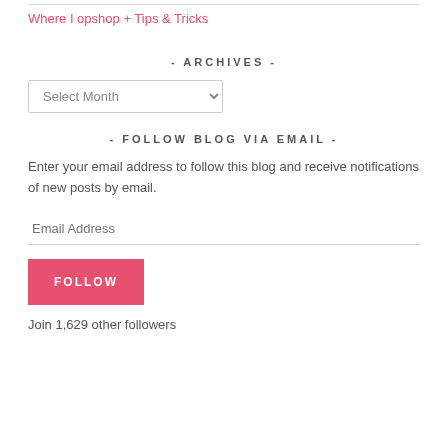Where I opshop + Tips & Tricks
- ARCHIVES -
Select Month
- FOLLOW BLOG VIA EMAIL -
Enter your email address to follow this blog and receive notifications of new posts by email.
Email Address
FOLLOW
Join 1,629 other followers